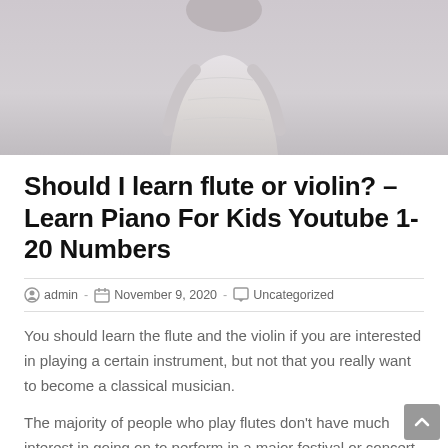[Figure (photo): Partial photo of a person wearing a light-colored (white/cream) outfit, cropped showing torso, against a light gray/lavender background]
Should I learn flute or violin? – Learn Piano For Kids Youtube 1-20 Numbers
admin  -  November 9, 2020  -  Uncategorized
You should learn the flute and the violin if you are interested in playing a certain instrument, but not that you really want to become a classical musician.
The majority of people who play flutes don't have much interest in going on to perform in a major festival or concert tour.